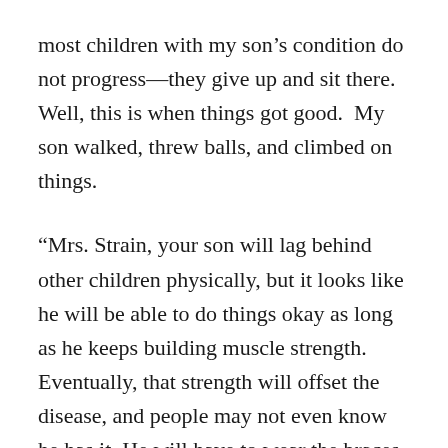most children with my son’s condition do not progress—they give up and sit there.  Well, this is when things got good.  My son walked, threw balls, and climbed on things.
“Mrs. Strain, your son will lag behind other children physically, but it looks like he will be able to do things okay as long as he keeps building muscle strength.  Eventually, that strength will offset the disease, and people may not even know he has it. He will have to wear the braces until early elementary school when he’ll eventually have enough muscle strength to compensate for the disease.  After that, he